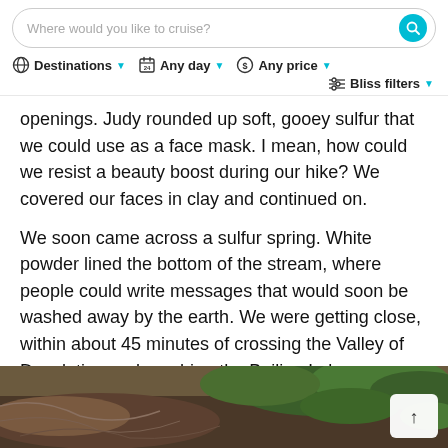Where would you like to cruise? | Destinations | Any day | Any price | Bliss filters
openings. Judy rounded up soft, gooey sulfur that we could use as a face mask. I mean, how could we resist a beauty boost during our hike? We covered our faces in clay and continued on.
We soon came across a sulfur spring. White powder lined the bottom of the stream, where people could write messages that would soon be washed away by the earth. We were getting close, within about 45 minutes of crossing the Valley of Desolation and reaching the Boiling Lake.
[Figure (photo): Partial view of natural vegetation and ground cover at the bottom of the page]